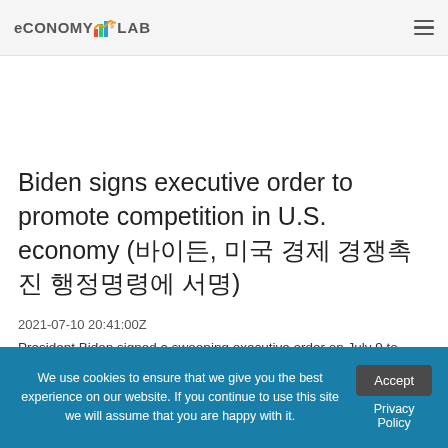ECONOMY LAB
Biden signs executive order to promote competition in U.S. economy (바이든, 미국 경제 경쟁촉진 행정명령에 서명)
2021-07-10 20:41:00Z
President Biden signed a sweeping executive order on July 9 to promote more competition in the U.S. economy. The order...
We use cookies to ensure that we give you the best experience on our website. If you continue to use this site we will assume that you are happy with it.